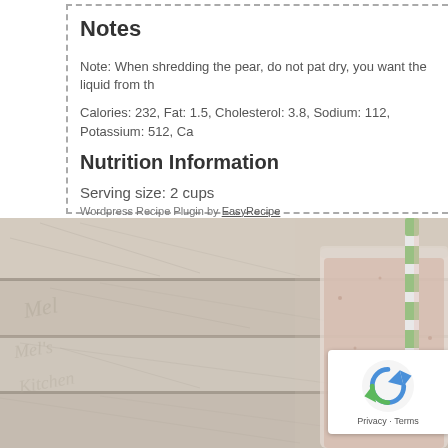Notes
Note: When shredding the pear, do not pat dry, you want the liquid from th
Calories: 232, Fat: 1.5, Cholesterol: 3.8, Sodium: 112, Potassium: 512, Ca
Nutrition Information
Serving size: 2 cups
Wordpress Recipe Plugin by EasyRecipe
[Figure (photo): A glass of smoothie with a green striped straw against a rustic white wooden plank background, partially cropped. A reCAPTCHA badge is visible in the bottom right corner.]